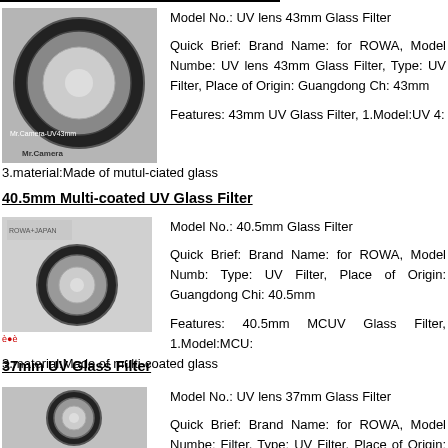[Figure (photo): UV lens 43mm Glass Filter product image with Mr.Camera branding]
Model No.: UV lens 43mm Glass Filter
Quick Brief: Brand Name: for ROWA, Model Number: UV lens 43mm Glass Filter, Type: UV Filter, Place of Origin: Guangdong China, 43mm
Features: 43mm UV Glass Filter, 1.Model:UV 43mm 3.material:Made of mutul-ciated glass
40.5mm Multi-coated UV Glass Filter
[Figure (photo): 40.5mm Multi-coated UV Glass Filter product image with ROWA Japan branding]
Model No.: 40.5mm Glass Filter
Quick Brief: Brand Name: for ROWA, Model Number: 40.5mm Glass Filter, Type: UV Filter, Place of Origin: Guangdong China, 40.5mm
Features: 40.5mm MCUV Glass Filter, 1.Model:MCUV 3.material:Made of multi-coated glass
37mm UV Glass Filter
[Figure (photo): 37mm UV Glass Filter product image]
Model No.: UV lens 37mm Glass Filter
Quick Brief: Brand Name: for ROWA, Model Number: UV lens 37mm Glass Filter, Type: UV Filter, Place of Origin: Guangdong China, 39.5mm